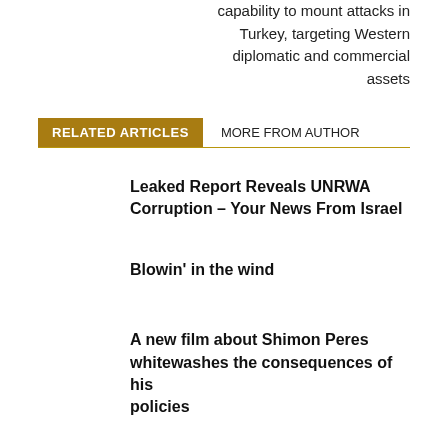capability to mount attacks in Turkey, targeting Western diplomatic and commercial assets
RELATED ARTICLES   MORE FROM AUTHOR
Leaked Report Reveals UNRWA Corruption – Your News From Israel
Blowin' in the wind
A new film about Shimon Peres whitewashes the consequences of his policies